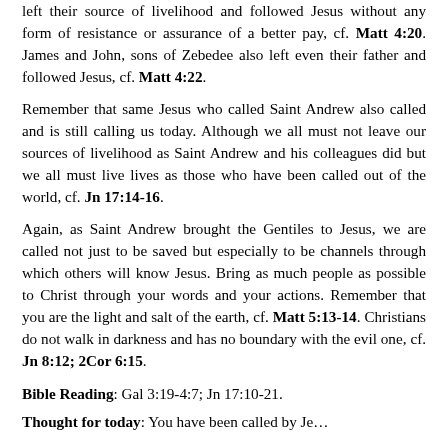left their source of livelihood and followed Jesus without any form of resistance or assurance of a better pay, cf. Matt 4:20. James and John, sons of Zebedee also left even their father and followed Jesus, cf. Matt 4:22.
Remember that same Jesus who called Saint Andrew also called and is still calling us today. Although we all must not leave our sources of livelihood as Saint Andrew and his colleagues did but we all must live lives as those who have been called out of the world, cf. Jn 17:14-16.
Again, as Saint Andrew brought the Gentiles to Jesus, we are called not just to be saved but especially to be channels through which others will know Jesus. Bring as much people as possible to Christ through your words and your actions. Remember that you are the light and salt of the earth, cf. Matt 5:13-14. Christians do not walk in darkness and has no boundary with the evil one, cf. Jn 8:12; 2Cor 6:15.
Bible Reading: Gal 3:19-4:7; Jn 17:10-21.
Thought for today: You have been called by Jesus...